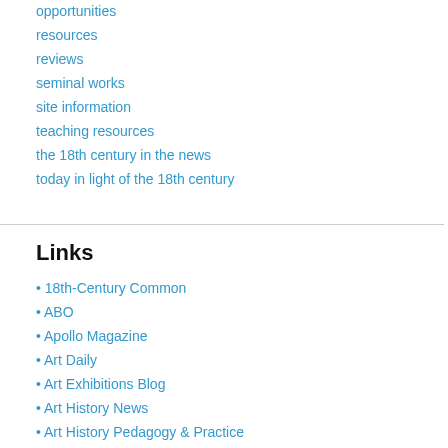opportunities
resources
reviews
seminal works
site information
teaching resources
the 18th century in the news
today in light of the 18th century
Links
18th-Century Common
ABO
Apollo Magazine
Art Daily
Art Exhibitions Blog
Art History News
Art History Pedagogy & Practice
Art History Resources